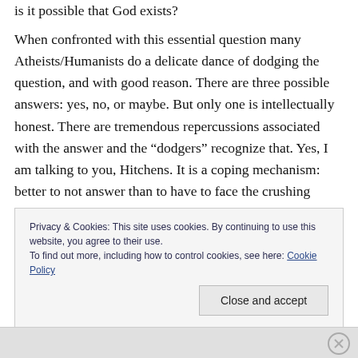is it possible that God exists?
When confronted with this essential question many Atheists/Humanists do a delicate dance of dodging the question, and with good reason. There are three possible answers: yes, no, or maybe. But only one is intellectually honest. There are tremendous repercussions associated with the answer and the “dodgers” recognize that. Yes, I am talking to you, Hitchens. It is a coping mechanism: better to not answer than to have to face the crushing reality of their unreasonable worldview. It takes great faith to be an Atheist, unreasonable faith.
Privacy & Cookies: This site uses cookies. By continuing to use this website, you agree to their use.
To find out more, including how to control cookies, see here: Cookie Policy
Close and accept